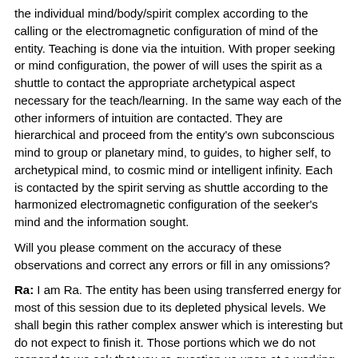the individual mind/body/spirit complex according to the calling or the electromagnetic configuration of mind of the entity. Teaching is done via the intuition. With proper seeking or mind configuration, the power of will uses the spirit as a shuttle to contact the appropriate archetypical aspect necessary for the teach/learning. In the same way each of the other informers of intuition are contacted. They are hierarchical and proceed from the entity's own subconscious mind to group or planetary mind, to guides, to higher self, to archetypical mind, to cosmic mind or intelligent infinity. Each is contacted by the spirit serving as shuttle according to the harmonized electromagnetic configuration of the seeker's mind and the information sought.
Will you please comment on the accuracy of these observations and correct any errors or fill in any omissions?
Ra: I am Ra. The entity has been using transferred energy for most of this session due to its depleted physical levels. We shall begin this rather complex answer which is interesting but do not expect to finish it. Those portions which we do not respond to we ask that you re-question us upon at a working in your future.
63 . 19  Questioner: It would seem to me that some of the
harvestable third-density entities are, however, relatively old since I know of some individuals who can bend metal who are over 50 years old and some over 30. Would there be other entities who can bend metal for other reasons than having dual activated bodies?
Ra: I am Ra. This is correct. Any entity who, by accident or by careful